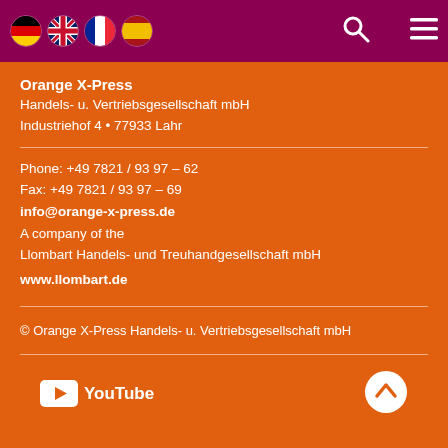[Figure (screenshot): Top navigation bar with dark magenta background showing four country flag icons (Germany, UK, France, Spain), a search icon, and a hamburger menu icon]
Orange X-Press
Handels- u. Vertriebsgesellschaft mbH
Industriehof 4 • 77933 Lahr
Phone: +49 7821 / 93 97 – 62
Fax: +49 7821 / 93 97 – 69
info@orange-x-press.de
A company of the
Llombart Handels- und Treuhandgesellschaft mbH
www.llombart.de
© Orange X-Press Handels- u. Vertriebsgesellschaft mbH
[Figure (logo): YouTube logo with white play button icon and white 'YouTube' text]
[Figure (other): White circular scroll-up arrow button]